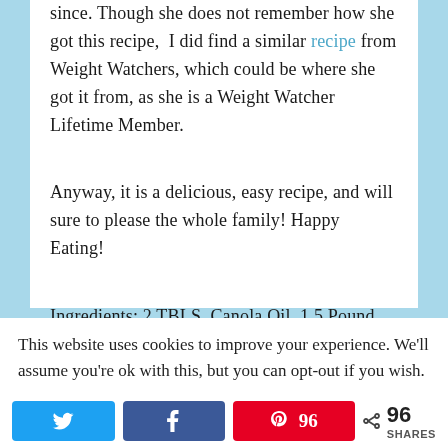since. Though she does not remember how she got this recipe, I did find a similar recipe from Weight Watchers, which could be where she got it from, as she is a Weight Watcher Lifetime Member.
Anyway, it is a delicious, easy recipe, and will sure to please the whole family! Happy Eating!
Ingredients: 2 TBLS. Canola Oil, 1.5 Pound Chicken Breast cutlets, 3 TLBS. Flour, 1 White
This website uses cookies to improve your experience. We'll assume you're ok with this, but you can opt-out if you wish.